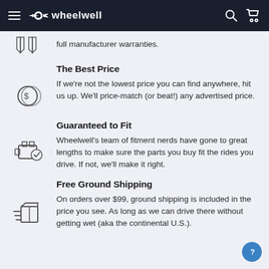wheelwell navigation bar
full manufacturer warranties.
The Best Price
If we're not the lowest price you can find anywhere, hit us up. We'll price-match (or beat!) any advertised price.
Guaranteed to Fit
Wheelwell's team of fitment nerds have gone to great lengths to make sure the parts you buy fit the rides you drive. If not, we'll make it right.
Free Ground Shipping
On orders over $99, ground shipping is included in the price you see. As long as we can drive there without getting wet (aka the continental U.S.).